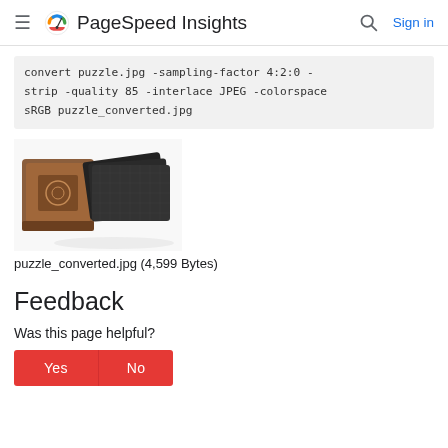PageSpeed Insights
convert puzzle.jpg -sampling-factor 4:2:0 -strip -quality 85 -interlace JPEG -colorspace sRGB puzzle_converted.jpg
[Figure (photo): Photo of a decorative wooden puzzle box and black puzzle pieces on a white background]
puzzle_converted.jpg (4,599 Bytes)
Feedback
Was this page helpful?
Yes   No